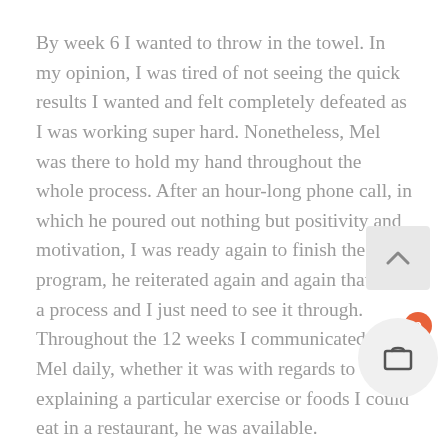By week 6 I wanted to throw in the towel. In my opinion, I was tired of not seeing the quick results I wanted and felt completely defeated as I was working super hard. Nonetheless, Mel was there to hold my hand throughout the whole process. After an hour-long phone call, in which he poured out nothing but positivity and motivation, I was ready again to finish the program, he reiterated again and again that it is a process and I just need to see it through. Throughout the 12 weeks I communicated with Mel daily, whether it was with regards to explaining a particular exercise or foods I could eat in a restaurant, he was available.
Now what I have learnt! Firstly, I have learnt that this program is perfect if you're already self-motivated. I never missed a single workout (yay me) and secondly your results are all the dependent on YOU, how open and hone... choose to be, in short, the more you put in the mor... get out. I learnt I had to be honest when I was struggling